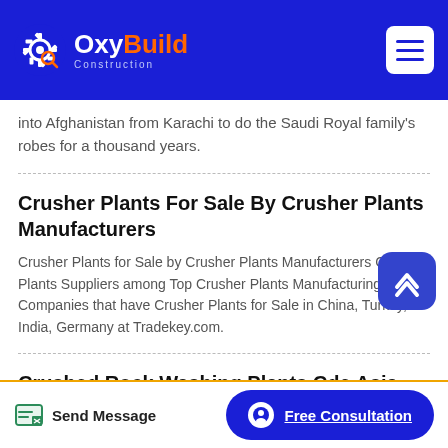OxyBuild Construction
into Afghanistan from Karachi to do the Saudi Royal family's robes for a thousand years.
Crusher Plants For Sale By Crusher Plants Manufacturers
Crusher Plants for Sale by Crusher Plants Manufacturers Crusher Plants Suppliers among Top Crusher Plants Manufacturing Companies that have Crusher Plants for Sale in China, Turkey, India, Germany at Tradekey.com.
Crushed Rock Washing Plants Cde Asia
Send Message | Free Consultation